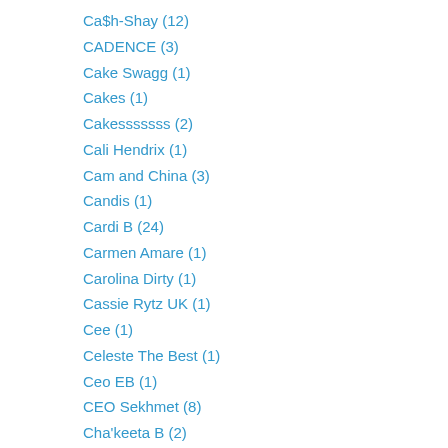Ca$h-Shay (12)
CADENCE (3)
Cake Swagg (1)
Cakes (1)
Cakesssssss (2)
Cali Hendrix (1)
Cam and China (3)
Candis (1)
Cardi B (24)
Carmen Amare (1)
Carolina Dirty (1)
Cassie Rytz UK (1)
Cee (1)
Celeste The Best (1)
Ceo EB (1)
CEO Sekhmet (8)
Cha'keeta B (2)
Chalmaine the God / @chalmaine_theGod (1)
Champ Diva (2)
Chanealie Barnes (1)